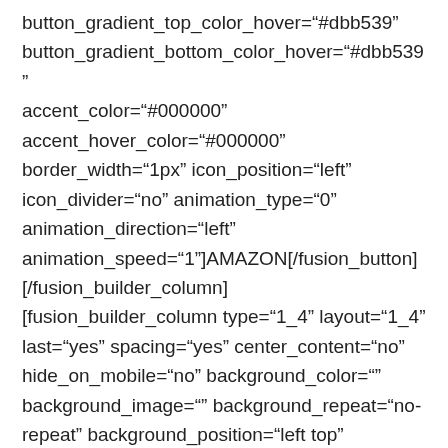button_gradient_top_color_hover="#dbb539" button_gradient_bottom_color_hover="#dbb539" accent_color="#000000" accent_hover_color="#000000" border_width="1px" icon_position="left" icon_divider="no" animation_type="0" animation_direction="left" animation_speed="1"]AMAZON[/fusion_button] [/fusion_builder_column] [fusion_builder_column type="1_4" layout="1_4" last="yes" spacing="yes" center_content="no" hide_on_mobile="no" background_color="" background_image="" background_repeat="no-repeat" background_position="left top"